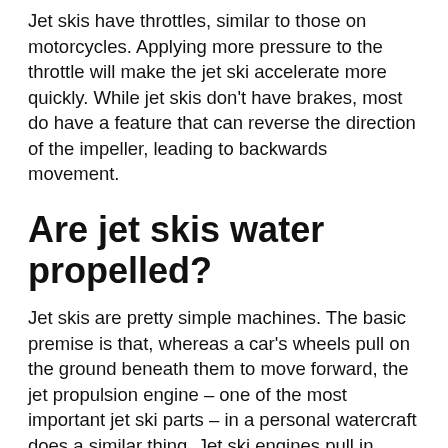Jet skis have throttles, similar to those on motorcycles. Applying more pressure to the throttle will make the jet ski accelerate more quickly. While jet skis don't have brakes, most do have a feature that can reverse the direction of the impeller, leading to backwards movement.
Are jet skis water propelled?
Jet skis are pretty simple machines. The basic premise is that, whereas a car's wheels pull on the ground beneath them to move forward, the jet propulsion engine – one of the most important jet ski parts – in a personal watercraft does a similar thing. Jet ski engines pull in water, and push it out the